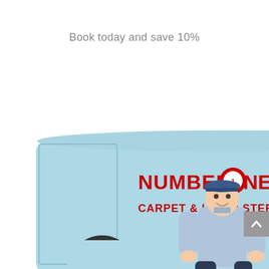Book today and save 10%
[Figure (photo): A carpet and upholstery cleaning company van (light blue) with 'NUMBER ONE CARPET & UPHOLSTERY CLEANING' branding in red letters on the side, a smiling technician in uniform crouching in front of the van, and a blue carpet cleaning machine next to him.]